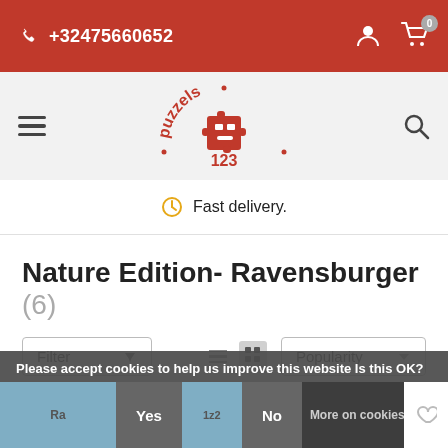+32475660652
[Figure (logo): puzzels123 red logo with puzzle piece graphic and text in arc]
Fast delivery.
Nature Edition- Ravensburger (6)
Filter  Popularity
Please accept cookies to help us improve this website Is this OK?
Yes  No  More on cookies »